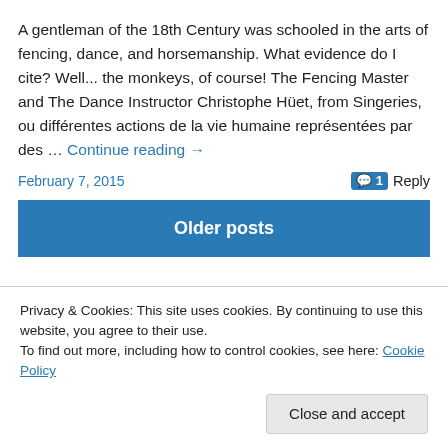A gentleman of the 18th Century was schooled in the arts of fencing, dance, and horsemanship. What evidence do I cite? Well... the monkeys, of course! The Fencing Master and The Dance Instructor Christophe Hüet, from Singeries, ou différentes actions de la vie humaine représentées par des … Continue reading →
February 7, 2015
1 Reply
Older posts
Privacy & Cookies: This site uses cookies. By continuing to use this website, you agree to their use.
To find out more, including how to control cookies, see here: Cookie Policy
Close and accept